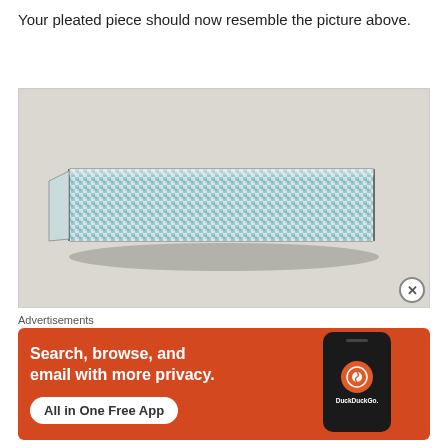Your pleated piece should now resemble the picture above.
[Figure (photo): A folded/pleated strip of blue and white gingham checkered fabric lying flat on a light gray textured surface.]
Advertisements
[Figure (screenshot): DuckDuckGo advertisement banner with orange background showing text 'Search, browse, and email with more privacy. All in One Free App' with a phone image displaying DuckDuckGo app icon.]